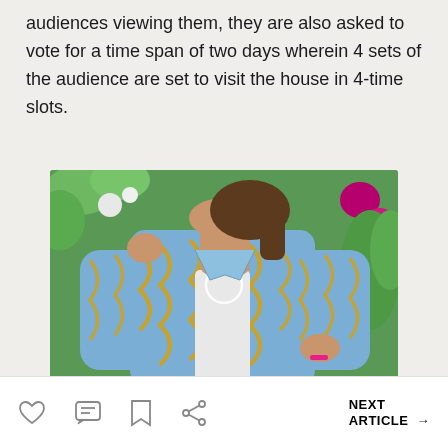audiences viewing them, they are also asked to vote for a time span of two days wherein 4 sets of the audience are set to visit the house in 4-time slots.
[Figure (photo): A woman wearing a blue denim jacket with gold chain pattern design, standing in front of colorful flowers. She has her hand raised near her face.]
NEXT ARTICLE →